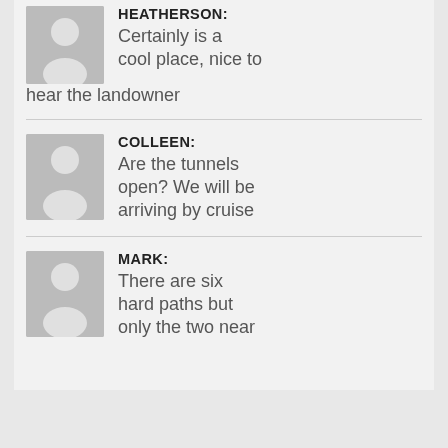HEATHERSON: Certainly is a cool place, nice to hear the landowner
COLLEEN: Are the tunnels open? We will be arriving by cruise
MARK: There are six hard paths but only the two near